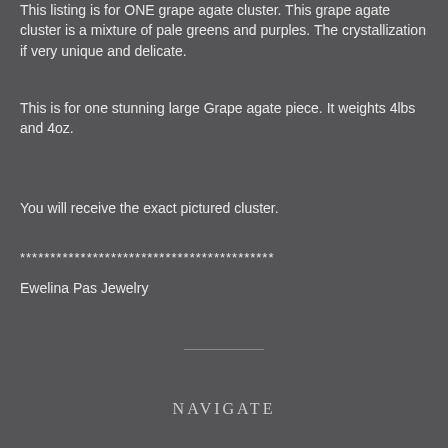This listing is for ONE grape agate cluster. This grape agate cluster is a mixture of pale greens and purples. The crystallization if very unique and delicate.
This is for one stunning large Grape agate piece. It weights 4lbs and 4oz.
You will receive the exact pictured cluster.
******************************************
Ewelina Pas Jewelry
NAVIGATE